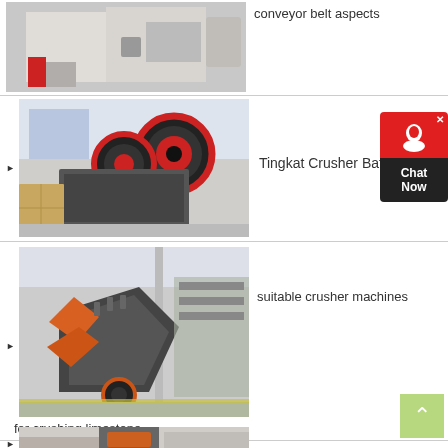[Figure (photo): Industrial crusher/mill machine in a factory, partial top view, red-suited worker visible]
conveyor belt aspects
[Figure (photo): Jaw crusher machine with large red and black flywheels in a manufacturing facility]
Tingkat Crusher Batubara
[Figure (photo): Impact crusher machine with orange accents on factory floor]
suitable crusher machines for crushing limestone
[Figure (photo): Cone crusher machine in industrial warehouse setting]